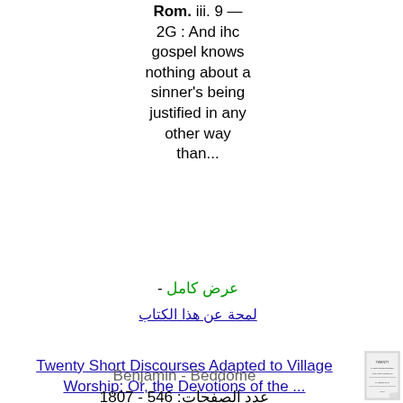Rom. iii. 9 — 2G : And ihc gospel knows nothing about a sinner's being justified in any other way than...
عرض كامل -
لمحة عن هذا الكتاب
Twenty Short Discourses Adapted to Village Worship: Or, the Devotions of the ...
[Figure (photo): Thumbnail image of a book title page for Twenty Short Discourses Adapted to Village Worship]
Benjamin - Beddome - 1807 - عدد الصفحات: 546 ...propitiation,